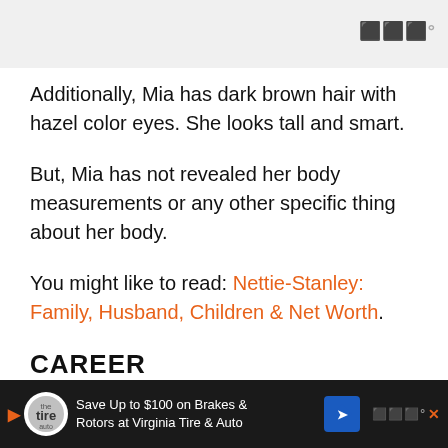[Figure (photo): Gray image area at top of page, partially visible photo]
Additionally, Mia has dark brown hair with hazel color eyes. She looks tall and smart.
But, Mia has not revealed her body measurements or any other specific thing about her body.
You might like to read: Nettie-Stanley: Family, Husband, Children & Net Worth.
CAREER
Mastroianni is a professional bartender. She is the
Save Up to $100 on Brakes & Rotors at Virginia Tire & Auto